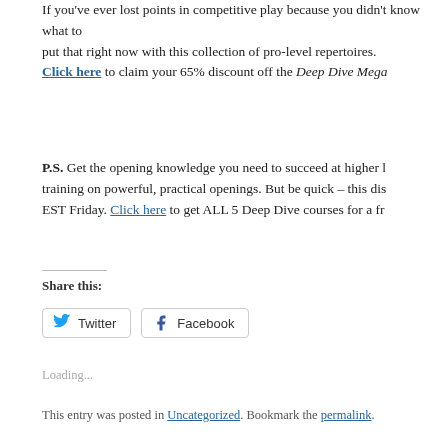If you've ever lost points in competitive play because you didn't know what to play, we can put that right now with this collection of pro-level repertoires.
Click here to claim your 65% discount off the Deep Dive Mega
P.S. Get the opening knowledge you need to succeed at higher levels with expert training on powerful, practical openings. But be quick – this dis... EST Friday. Click here to get ALL 5 Deep Dive courses for a fr...
Share this:
Loading...
This entry was posted in Uncategorized. Bookmark the permalink.